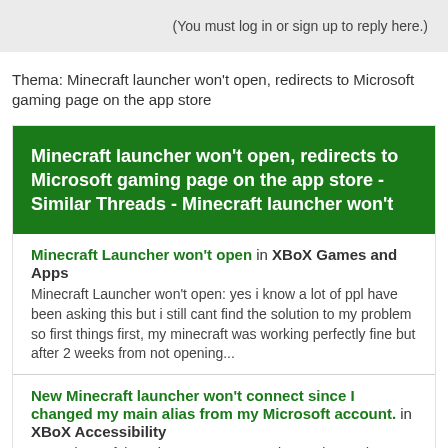(You must log in or sign up to reply here.)
Thema: Minecraft launcher won't open, redirects to Microsoft gaming page on the app store
Minecraft launcher won't open, redirects to Microsoft gaming page on the app store - Similar Threads - Minecraft launcher won't
Minecraft Launcher won't open in XBoX Games and Apps
Minecraft Launcher won't open: yes i know a lot of ppl have been asking this but i still cant find the solution to my problem so first things first, my minecraft was working perfectly fine but after 2 weeks from not opening...
New Minecraft launcher won't connect since I changed my main alias from my Microsoft account. in XBoX Accessibility
New Minecraft launcher won't connect since I changed my main